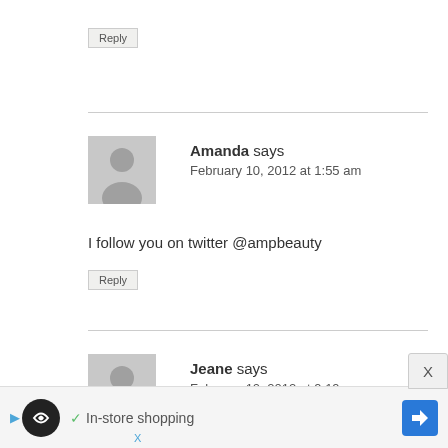Reply
Amanda says
February 10, 2012 at 1:55 am
I follow you on twitter @ampbeauty
Reply
Jeane says
February 10, 2012 at 9:19 pm
[Figure (other): Advertisement banner: In-store shopping with navigation icon]